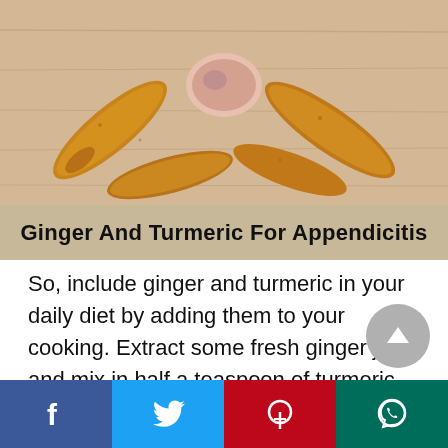[Figure (photo): Photo of turmeric and ginger roots on a wooden surface, viewed from above]
Ginger And Turmeric For Appendicitis
So, include ginger and turmeric in your daily diet by adding them to your cooking. Extract some fresh ginger juice and mix in half a teaspoon of turmeric powder. Add some honey to this mixture and have twice daily.
[Figure (other): Scroll-to-top button (grey circle with up arrow)]
[Figure (other): Social share bar with Facebook, Twitter, Pinterest, and WhatsApp buttons]